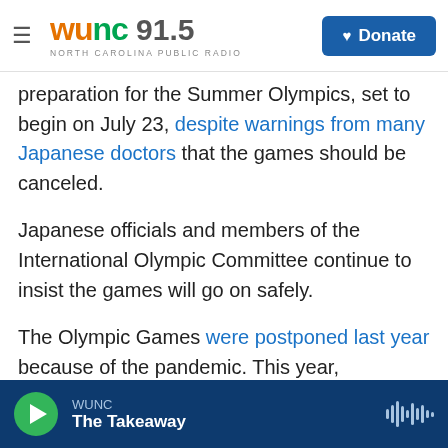WUNC 91.5 NORTH CAROLINA PUBLIC RADIO — Donate
preparation for the Summer Olympics, set to begin on July 23, despite warnings from many Japanese doctors that the games should be canceled.
Japanese officials and members of the International Olympic Committee continue to insist the games will go on safely.
The Olympic Games were postponed last year because of the pandemic. This year, thousands of physicians cite a surge in infections in Japan in warning that there is no capacity to handle possible outbreaks. Last week, Japan's government extended a state of emergency covering major
WUNC — The Takeaway